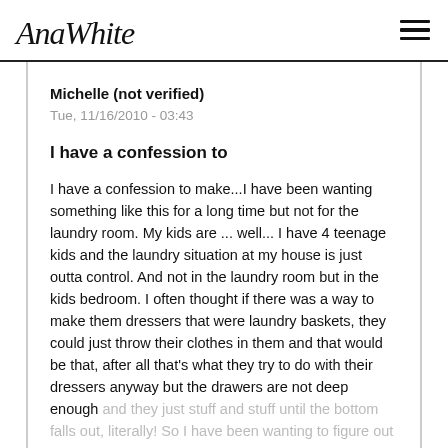AnaWhite [hamburger menu icon]
Michelle (not verified)
Tue, 11/16/2010 - 03:43
I have a confession to
I have a confession to make...I have been wanting something like this for a long time but not for the laundry room. My kids are ... well... I have 4 teenage kids and the laundry situation at my house is just outta control. And not in the laundry room but in the kids bedroom. I often thought if there was a way to make them dressers that were laundry baskets, they could just throw their clothes in them and that would be that, after all that's what they try to do with their dressers anyway but the drawers are not deep enough and they just stuff and stuff until the bottom falls out, literally! So I have been wanting to figure out